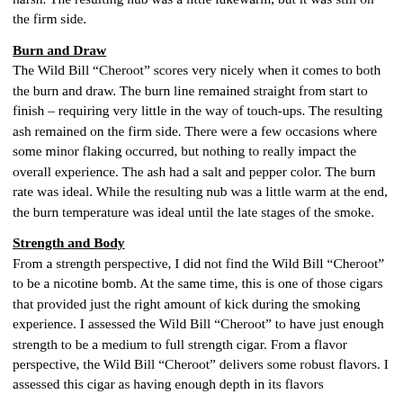harsh.  The resulting nub was a little lukewarm, but it was still on the firm side.
Burn and Draw
The Wild Bill “Cheroot” scores very nicely when it comes to both the burn and draw.  The burn line remained straight from start to finish – requiring very little in the way of touch-ups.  The resulting ash remained on the firm side.  There were a few occasions where some minor flaking occurred, but nothing to really impact the overall experience.  The ash had a salt and pepper color.  The burn rate was ideal.  While the resulting nub was a little warm at the end, the burn temperature was ideal until the late stages of the smoke.
Strength and Body
From a strength perspective, I did not find the Wild Bill “Cheroot” to be a nicotine bomb.  At the same time, this is one of those cigars that provided just the right amount of kick during the smoking experience.  I assessed the Wild Bill “Cheroot” to have just enough strength to be a medium to full strength cigar.  From a flavor perspective, the Wild Bill “Cheroot” delivers some robust flavors.  I assessed this cigar as having enough depth in its flavors